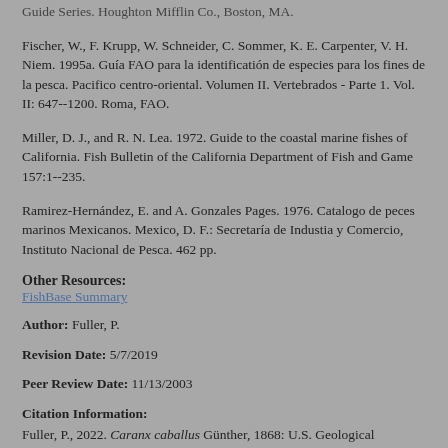Guide Series. Houghton Mifflin Co., Boston, MA.
Fischer, W., F. Krupp, W. Schneider, C. Sommer, K. E. Carpenter, V. H. Niem. 1995a. Guía FAO para la identificatión de especies para los fines de la pesca. Pacifico centro-oriental. Volumen II. Vertebrados - Parte 1. Vol. II: 647--1200. Roma, FAO.
Miller, D. J., and R. N. Lea. 1972. Guide to the coastal marine fishes of California. Fish Bulletin of the California Department of Fish and Game 157:1--235.
Ramirez-Hernández, E. and A. Gonzales Pages. 1976. Catalogo de peces marinos Mexicanos. Mexico, D. F.: Secretaría de Industia y Comercio, Instituto Nacional de Pesca. 462 pp.
Other Resources:
FishBase Summary
Author: Fuller, P.
Revision Date: 5/7/2019
Peer Review Date: 11/13/2003
Citation Information:
Fuller, P., 2022. Caranx caballus Günther, 1868: U.S. Geological